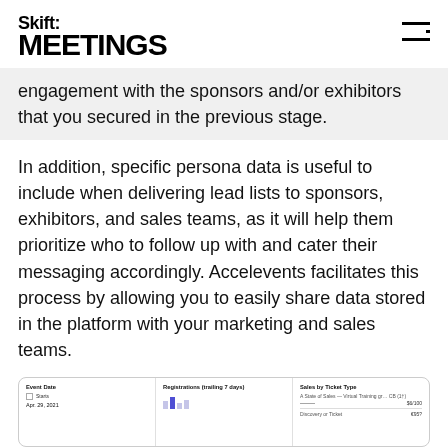Skift MEETINGS
engagement with the sponsors and/or exhibitors that you secured in the previous stage.
In addition, specific persona data is useful to include when delivering lead lists to sponsors, exhibitors, and sales teams, as it will help them prioritize who to follow up with and cater their messaging accordingly. Accelevents facilitates this process by allowing you to easily share data stored in the platform with your marketing and sales teams.
[Figure (screenshot): Screenshot of Accelevents platform showing event dashboard with Event Date, Registrations (trailing 7 days), and Sales by Ticket Type panels]